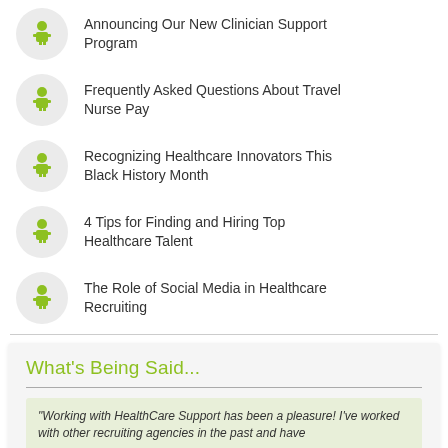Announcing Our New Clinician Support Program
Frequently Asked Questions About Travel Nurse Pay
Recognizing Healthcare Innovators This Black History Month
4 Tips for Finding and Hiring Top Healthcare Talent
The Role of Social Media in Healthcare Recruiting
What's Being Said...
"Working with HealthCare Support has been a pleasure! I've worked with other recruiting agencies in the past and have